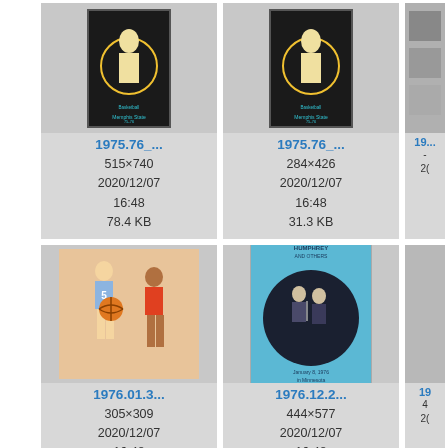[Figure (screenshot): File browser / media library grid showing thumbnail images with filenames, dimensions, dates, and file sizes. Top row: two basketball program covers labeled 1975.76_... (515×740, 2020/12/07 16:48, 78.4 KB) and 1975.76_... (284×426, 2020/12/07 16:48, 31.3 KB), plus a partial third column. Middle row: a basketball illustration labeled 1976.01.3... (305×309, 2020/12/07 16:48, 31.7 KB) and a Humphrey concert program labeled 1976.12.2... (444×577, 2020/12/07 16:48, 44.2 KB), plus partial third column. Bottom row: partial thumbnails of additional items.]